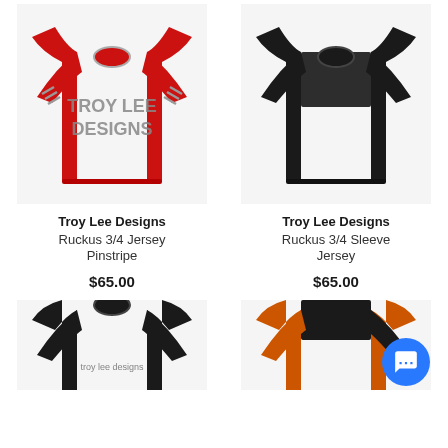[Figure (photo): Red Troy Lee Designs Ruckus 3/4 Jersey Pinstripe long sleeve cycling shirt with grey stripe accents on sleeves]
Troy Lee Designs
Ruckus 3/4 Jersey Pinstripe
$65.00
[Figure (photo): Black Troy Lee Designs Ruckus 3/4 Sleeve Jersey with dark panel on upper chest/back]
Troy Lee Designs
Ruckus 3/4 Sleeve Jersey
$65.00
[Figure (photo): Black jersey partially visible at bottom left]
[Figure (photo): Orange and black jersey partially visible at bottom right]